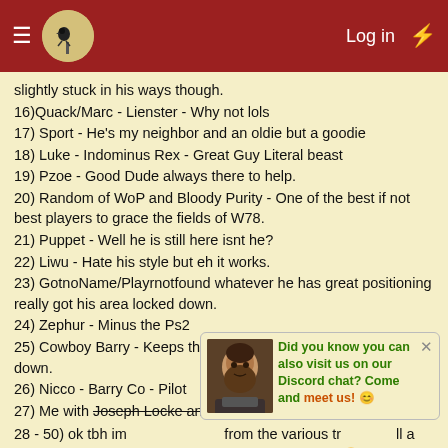Log in
slightly stuck in his ways though.
16)Quack/Marc - Lienster - Why not lols
17) Sport - He's my neighbor and an oldie but a goodie
18) Luke - Indominus Rex - Great Guy Literal beast
19) Pzoe - Good Dude always there to help.
20) Random of WoP and Bloody Purity - One of the best if not best players to grace the fields of W78.
21) Puppet - Well he is still here isnt he?
22) Liwu - Hate his style but eh it works.
23) GotnoName/Playrnotfound whatever he has great positioning really got his area locked down.
24) Zephur - Minus the Ps2
25) Cowboy Barry - Keeps the spirits up while laying the smack down.
26) Nicco - Barry Co - Pilot
27) Me with Joseph Locke and Tudadar as Co players 😐
28 - 50) ok tbh im not sure more from the various tribes at a guess could probably have enough for a few tribes 🙂 Oh and anyone else in North or said something nice about me lols.
Did you know you can also visit us on our Discord chat? Come and meet us! 🙂